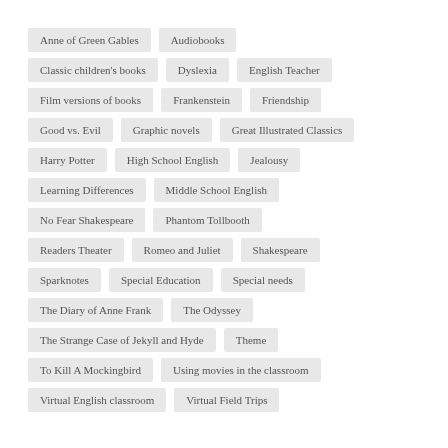Anne of Green Gables
Audiobooks
Classic children's books
Dyslexia
English Teacher
Film versions of books
Frankenstein
Friendship
Good vs. Evil
Graphic novels
Great Illustrated Classics
Harry Potter
High School English
Jealousy
Learning Differences
Middle School English
No Fear Shakespeare
Phantom Tollbooth
Readers Theater
Romeo and Juliet
Shakespeare
Sparknotes
Special Education
Special needs
The Diary of Anne Frank
The Odyssey
The Strange Case of Jekyll and Hyde
Theme
To Kill A Mockingbird
Using movies in the classroom
Virtual English classroom
Virtual Field Trips